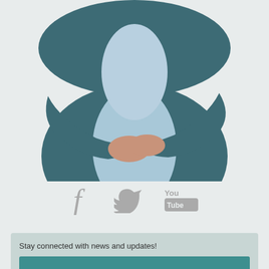[Figure (photo): Person with arms crossed wearing a teal/dark blue cardigan over a light blue top, photographed from chest down against a light gray background]
[Figure (infographic): Social media icons: Facebook (f), Twitter (bird), YouTube (You/Tube logo) displayed in gray]
Stay connected with news and updates!
Subscribe